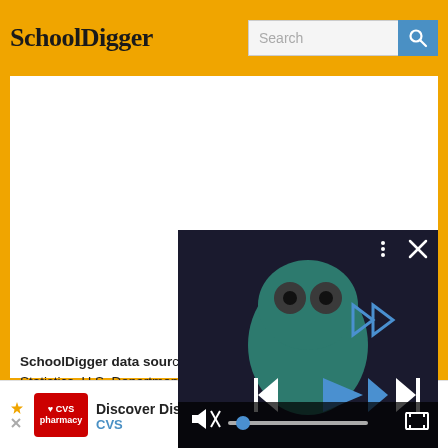SchoolDigger
[Figure (screenshot): Video player overlay showing a cartoon creature with media playback controls (previous, play, next), a mute button, a progress bar, and fullscreen button on a dark background.]
SchoolDigger data sources: National Center for Education Statistics, U.S. Department of Education, the U.S. Census Bureau and the Massachusetts Department of Elementary and Secondary Education. School Attendance Areas provided by ESRI...
[Figure (screenshot): Advertisement banner: CVS pharmacy logo with text 'Discover Discounts At CVS®' and 'CVS' in blue, with a blue arrow icon on the right.]